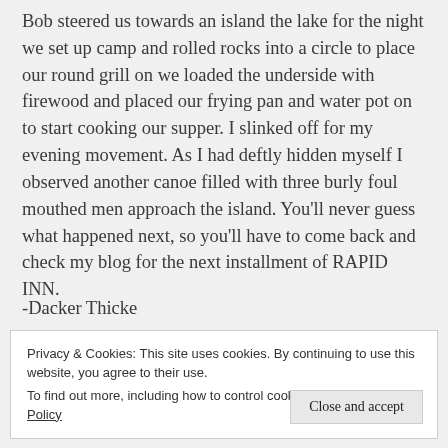Bob steered us towards an island the lake for the night we set up camp and rolled rocks into a circle to place our round grill on we loaded the underside with firewood and placed our frying pan and water pot on to start cooking our supper. I slinked off for my evening movement. As I had deftly hidden myself I observed another canoe filled with three burly foul mouthed men approach the island. You'll never guess what happened next, so you'll have to come back and check my blog for the next installment of RAPID INN.
-Dacker Thicke
Privacy & Cookies: This site uses cookies. By continuing to use this website, you agree to their use.
To find out more, including how to control cookies, see here: Cookie Policy
Close and accept